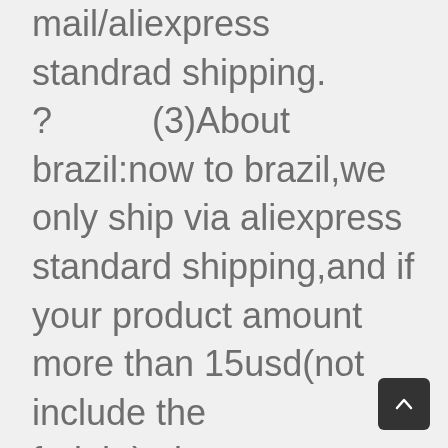mail/aliexpress standrad shipping. ?          (3)About brazil:now to brazil,we only ship via aliexpress standard shipping,and if your product amount more than 15usd(not include the freight),please contact with us to remove the